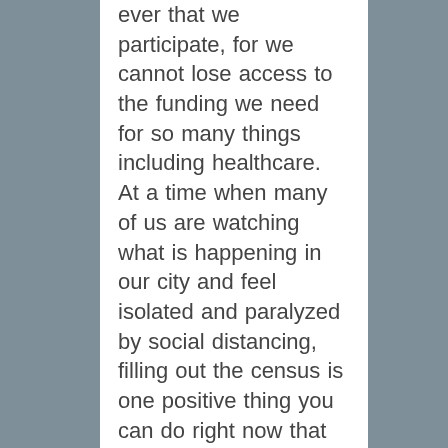ever that we participate, for we cannot lose access to the funding we need for so many things including healthcare.  At a time when many of us are watching what is happening in our city and feel isolated and paralyzed by social distancing, filling out the census is one positive thing you can do right now that will make a difference for your community and your city for the next decade.  Speaking of what is happening in our city, today Governor Cuomo announced that all